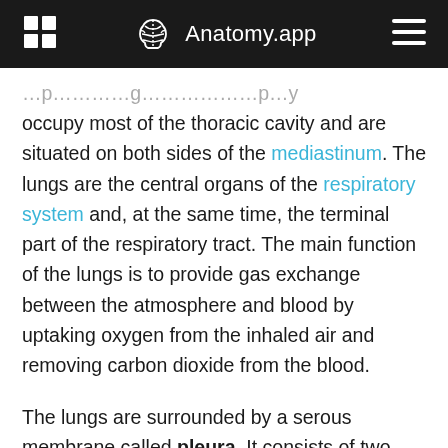Anatomy.app
…occupy most of the thoracic cavity and are situated on both sides of the mediastinum. The lungs are the central organs of the respiratory system and, at the same time, the terminal part of the respiratory tract. The main function of the lungs is to provide gas exchange between the atmosphere and blood by uptaking oxygen from the inhaled air and removing carbon dioxide from the blood.
The lungs are surrounded by a serous membrane called pleura. It consists of two layers - visceral and parietal. The visceral pleura is fused with the surfaces of the lungs, while the parietal pleura